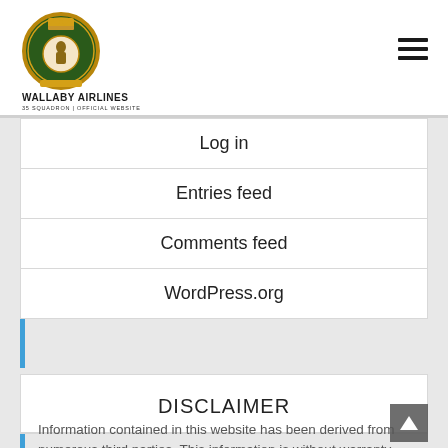[Figure (logo): Wallaby Airlines 35 Squadron official website logo with military crest badge]
WALLABY AIRLINES
35 SQUADRON | OFFICIAL WEBSITE
Log in
Entries feed
Comments feed
WordPress.org
DISCLAIMER
Information contained in this website has been derived from numerous third parties. This information is without warranty...